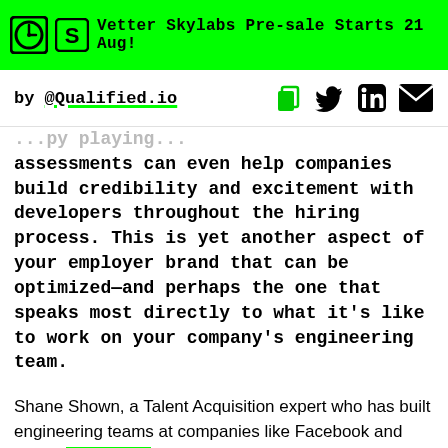Vetter Skylabs Pre-sale Starts 21 Aug!
by @Qualified.io
assessments can even help companies build credibility and excitement with developers throughout the hiring process. This is yet another aspect of your employer brand that can be optimized—and perhaps the one that speaks most directly to what it's like to work on your company's engineering team.
Shane Shown, a Talent Acquisition expert who has built engineering teams at companies like Facebook and Zillow, says it best.